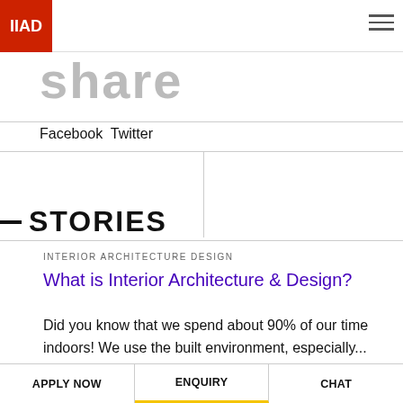IIAD
share
Facebook  Twitter
STORIES
INTERIOR ARCHITECTURE DESIGN
What is Interior Architecture & Design?
Did you know that we spend about 90% of our time indoors! We use the built environment, especially...
Bhawna Jolly March 15, 2016
APPLY NOW   ENQUIRY   CHAT